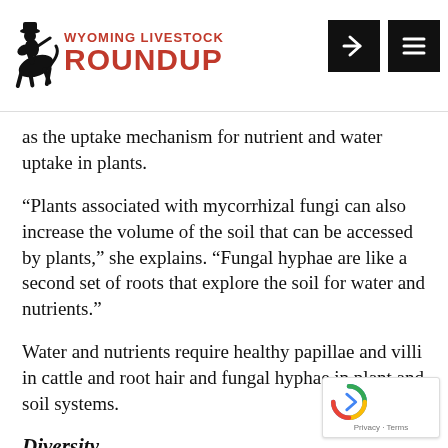Wyoming Livestock Roundup
as the uptake mechanism for nutrient and water uptake in plants.
“Plants associated with mycorrhizal fungi can also increase the volume of the soil that can be accessed by plants,” she explains. “Fungal hyphae are like a second set of roots that explore the soil for water and nutrients.”
Water and nutrients require healthy papillae and villi in cattle and root hair and fungal hyphae in plant and soil systems.
Diversity